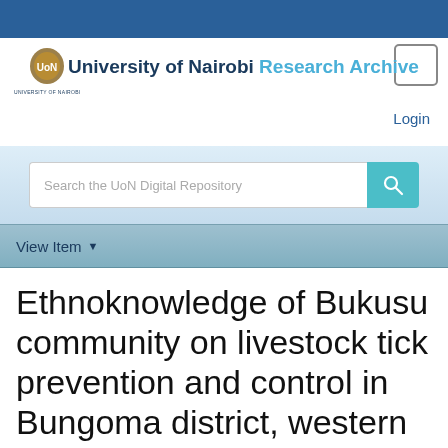[Figure (logo): University of Nairobi crest/logo with text 'UNIVERSITY OF NAIROBI' below]
University of Nairobi Research Archive
Login
Search the UoN Digital Repository
View Item
Ethnoknowledge of Bukusu community on livestock tick prevention and control in Bungoma district, western Kenya